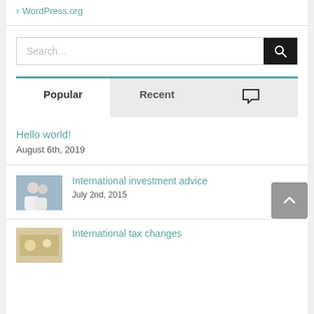WordPress.org
[Figure (screenshot): Search input box with magnifying glass icon on black background]
Popular | Recent | (comment icon)
Hello world!
August 6th, 2019
International investment advice
July 2nd, 2015
International tax changes (partial)